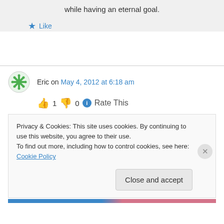while having an eternal goal.
★ Like
Eric on May 4, 2012 at 6:18 am
👍 1 👎 0 ℹ Rate This
Privacy & Cookies: This site uses cookies. By continuing to use this website, you agree to their use.
To find out more, including how to control cookies, see here: Cookie Policy
Close and accept